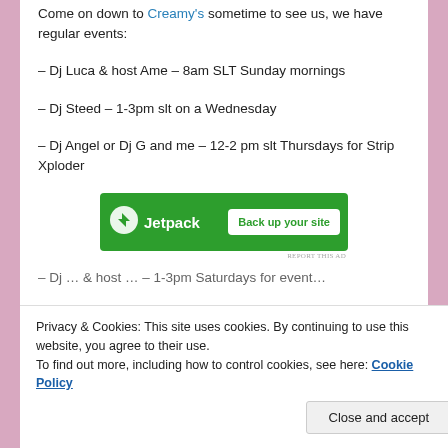Come on down to Creamy's sometime to see us, we have regular events:
– Dj Luca & host Ame – 8am SLT Sunday mornings
– Dj Steed – 1-3pm slt on a Wednesday
– Dj Angel or Dj G and me – 12-2 pm slt Thursdays for Strip Xploder
[Figure (other): Jetpack advertisement banner with green background, Jetpack logo and 'Back up your site' button]
REPORT THIS AD
– Dj … & host … – 1-3pm Saturdays for event…
Privacy & Cookies: This site uses cookies. By continuing to use this website, you agree to their use.
To find out more, including how to control cookies, see here: Cookie Policy
Close and accept